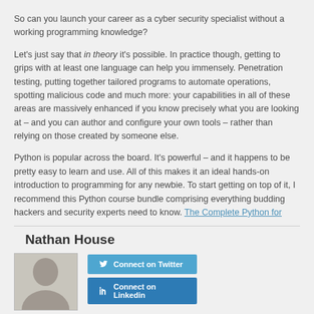So can you launch your career as a cyber security specialist without a working programming knowledge?
Let's just say that in theory it's possible. In practice though, getting to grips with at least one language can help you immensely. Penetration testing, putting together tailored programs to automate operations, spotting malicious code and much more: your capabilities in all of these areas are massively enhanced if you know precisely what you are looking at – and you can author and configure your own tools – rather than relying on those created by someone else.
Python is popular across the board. It's powerful – and it happens to be pretty easy to learn and use. All of this makes it an ideal hands-on introduction to programming for any newbie. To start getting on top of it, I recommend this Python course bundle comprising everything budding hackers and security experts need to know. The Complete Python for Hacking and Cyber Security Bundle
Nathan House
[Figure (photo): Author photo of Nathan House]
[Figure (infographic): Connect on Twitter button (blue) and Connect on LinkedIn button (dark blue)]